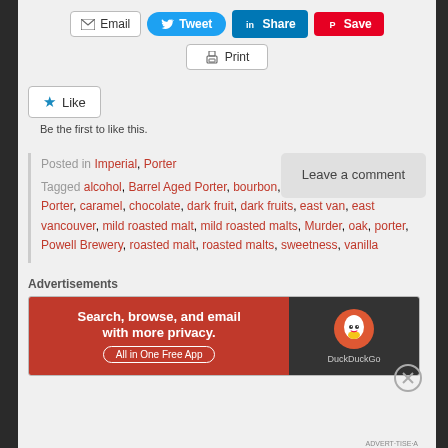[Figure (screenshot): Social sharing buttons: Email, Tweet, Share (LinkedIn), Save (Pinterest), and Print]
[Figure (screenshot): Like button with star icon]
Be the first to like this.
Posted in Imperial, Porter Tagged alcohol, Barrel Aged Porter, bourbon, Bourbon Barrel Aged Porter, caramel, chocolate, dark fruit, dark fruits, east van, east vancouver, mild roasted malt, mild roasted malts, Murder, oak, porter, Powell Brewery, roasted malt, roasted malts, sweetness, vanilla
[Figure (screenshot): Leave a comment button]
Advertisements
[Figure (screenshot): DuckDuckGo advertisement banner: Search, browse, and email with more privacy. All in One Free App]